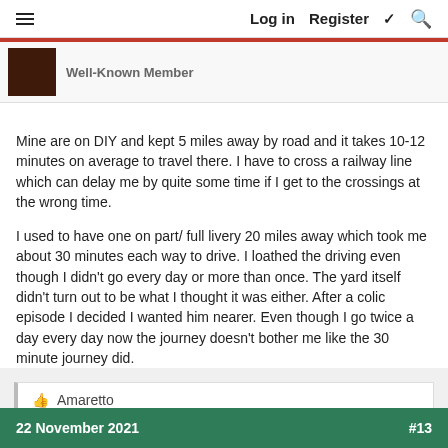Log in  Register
Well-Known Member
Mine are on DIY and kept 5 miles away by road and it takes 10-12 minutes on average to travel there. I have to cross a railway line which can delay me by quite some time if I get to the crossings at the wrong time.

I used to have one on part/ full livery 20 miles away which took me about 30 minutes each way to drive. I loathed the driving even though I didn't go every day or more than once. The yard itself didn't turn out to be what I thought it was either. After a colic episode I decided I wanted him nearer. Even though I go twice a day every day now the journey doesn't bother me like the 30 minute journey did.
👍 Amaretto
22 November 2021  #13